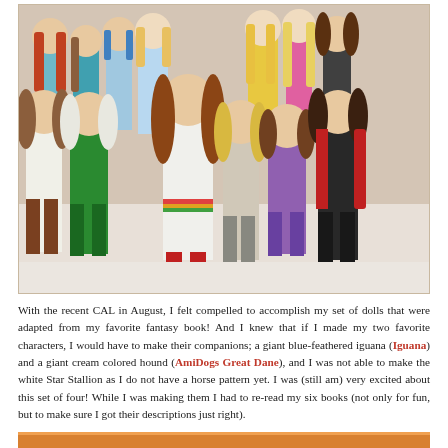[Figure (photo): A group of crocheted amigurumi dolls arranged together, depicting various characters with different hair colors and outfits, posed on a white surface.]
With the recent CAL in August, I felt compelled to accomplish my set of dolls that were adapted from my favorite fantasy book! And I knew that if I made my two favorite characters, I would have to make their companions; a giant blue-feathered iguana (Iguana) and a giant cream colored hound (AmiDogs Great Dane), and I was not able to make the white Star Stallion as I do not have a horse pattern yet. I was (still am) very excited about this set of four! While I was making them I had to re-read my six books (not only for fun, but to make sure I got their descriptions just right).
[Figure (photo): Partial view of another photo, showing an orange/amber crocheted item at the bottom of the page.]